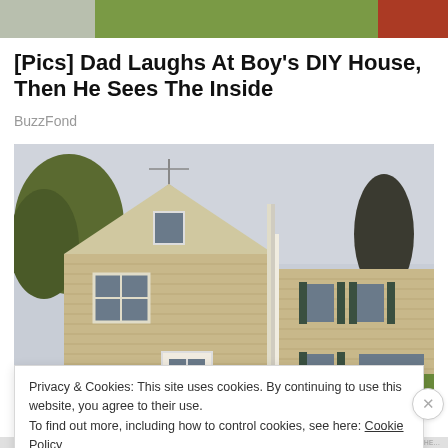[Figure (photo): Top partial image showing a green lawn with some structures visible at top left and red object at top right]
[Pics] Dad Laughs At Boy's DIY House, Then He Sees The Inside
BuzzFond
[Figure (photo): Exterior photo of a two-story house with tan/beige horizontal siding, white trim, a central peaked dormer, windows with dark shutters, a front entry door, and surrounding trees with spring foliage]
Privacy & Cookies: This site uses cookies. By continuing to use this website, you agree to their use.
To find out more, including how to control cookies, see here: Cookie Policy
Close and accept